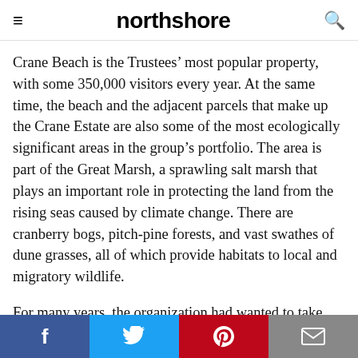northshore
Crane Beach is the Trustees’ most popular property, with some 350,000 visitors every year. At the same time, the beach and the adjacent parcels that make up the Crane Estate are also some of the most ecologically significant areas in the group’s portfolio. The area is part of the Great Marsh, a sprawling salt marsh that plays an important role in protecting the land from the rising seas caused by climate change. There are cranberry bogs, pitch-pine forests, and vast swathes of dune grasses, all of which provide habitats to local and migratory wildlife.
For many years, the organization had wanted to take advantage of these dynamics and create a place to share with visitors the wonders of the location and the work the Trustees...
f  🐦  p  ✉